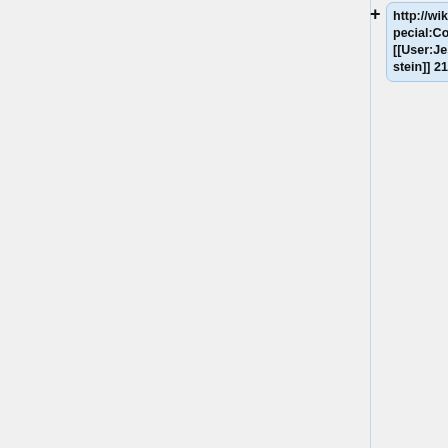http://wiki.creativecommons.org/Special:Contributions/Mferreiras -- [[User:JesseWeinstein|JesseWeinstein]] 21:20, 5 May 2010 (UTC)
== Note on [[Translate]] about Transifex ==
Hi Nathan, I added this note: